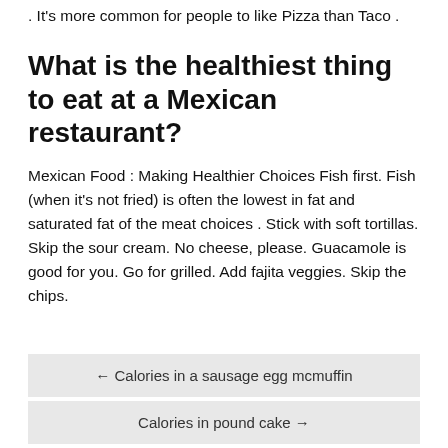. It's more common for people to like Pizza than Taco .
What is the healthiest thing to eat at a Mexican restaurant?
Mexican Food : Making Healthier Choices Fish first. Fish (when it's not fried) is often the lowest in fat and saturated fat of the meat choices . Stick with soft tortillas. Skip the sour cream. No cheese, please. Guacamole is good for you. Go for grilled. Add fajita veggies. Skip the chips.
← Calories in a sausage egg mcmuffin
Calories in pound cake →